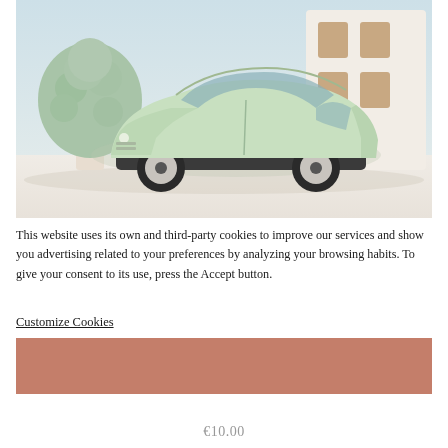[Figure (photo): A mint green Citroën 2CV toy/model car on a white surface, with a white miniature house and a sage green fluffy tree decoration in the background. Soft pastel/dreamy aesthetic.]
This website uses its own and third-party cookies to improve our services and show you advertising related to your preferences by analyzing your browsing habits. To give your consent to its use, press the Accept button.
Customize Cookies
[Figure (other): A terracotta/salmon colored Accept button rectangle]
€10.00